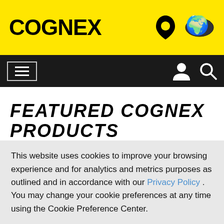[Figure (logo): Cognex logo in black bold text on yellow background with phone icon and world map icon on the right]
[Figure (screenshot): Black navigation bar with hamburger menu on left and person/search icons on right]
FEATURED COGNEX PRODUCTS
This website uses cookies to improve your browsing experience and for analytics and metrics purposes as outlined and in accordance with our Privacy Policy . You may change your cookie preferences at any time using the Cookie Preference Center.
Accept All Cookies
Cookie Preference Center